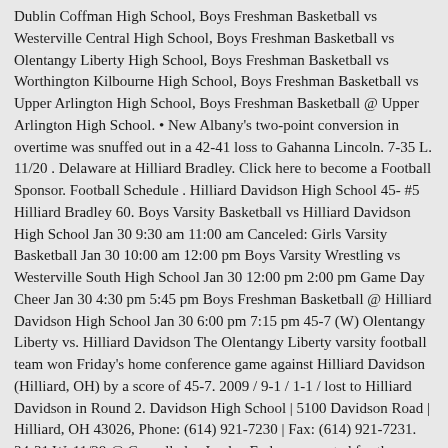Dublin Coffman High School, Boys Freshman Basketball vs Westerville Central High School, Boys Freshman Basketball vs Olentangy Liberty High School, Boys Freshman Basketball vs Worthington Kilbourne High School, Boys Freshman Basketball vs Upper Arlington High School, Boys Freshman Basketball @ Upper Arlington High School. • New Albany's two-point conversion in overtime was snuffed out in a 42-41 loss to Gahanna Lincoln. 7-35 L. 11/20 . Delaware at Hilliard Bradley. Click here to become a Football Sponsor. Football Schedule . Hilliard Davidson High School 45- #5 Hilliard Bradley 60. Boys Varsity Basketball vs Hilliard Davidson High School Jan 30 9:30 am 11:00 am Canceled: Girls Varsity Basketball Jan 30 10:00 am 12:00 pm Boys Varsity Wrestling vs Westerville South High School Jan 30 12:00 pm 2:00 pm Game Day Cheer Jan 30 4:30 pm 5:45 pm Boys Freshman Basketball @ Hilliard Davidson High School Jan 30 6:00 pm 7:15 pm 45-7 (W) Olentangy Liberty vs. Hilliard Davidson The Olentangy Liberty varsity football team won Friday's home conference game against Hilliard Davidson (Hilliard, OH) by a score of 45-7. 2009 / 9-1 / 1-1 / lost to Hilliard Davidson in Round 2. Davidson High School | 5100 Davidson Road | Hilliard, OH 43026, Phone: (614) 921-7230 | Fax: (614) 921-7231. 34-31 W. 11/28 @ Cancelled. • Jayden Fudge accounted for three touchdowns and ran for 159 yards on 25 carries, while Brock Kidwell totaled 164 yards with a score on 29